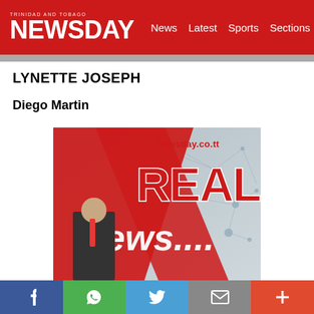NEWSDAY | News Latest Sports Sections
LYNETTE JOSEPH
Diego Martin
[Figure (illustration): Newsday 'Real News...' promotional graphic with red diagonal band over network/tech background, showing text 'newsday.co.tt', 'REAL', 'News....' with a person in a suit.]
f | WhatsApp | Twitter | Email | +